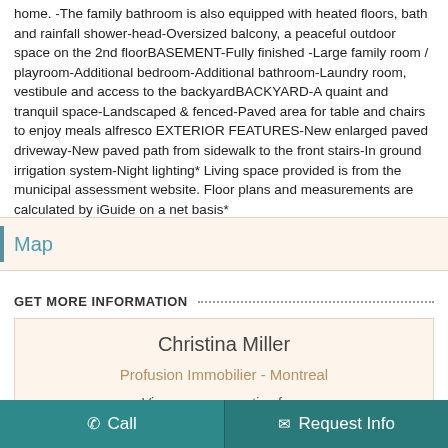home. -The family bathroom is also equipped with heated floors, bath and rainfall shower-head-Oversized balcony, a peaceful outdoor space on the 2nd floorBASEMENT-Fully finished -Large family room / playroom-Additional bedroom-Additional bathroom-Laundry room, vestibule and access to the backyardBACKYARD-A quaint and tranquil space-Landscaped & fenced-Paved area for table and chairs to enjoy meals alfresco EXTERIOR FEATURES-New enlarged paved driveway-New paved path from sidewalk to the front stairs-In ground irrigation system-Night lighting* Living space provided is from the municipal assessment website. Floor plans and measurements are calculated by iGuide on a net basis*
Map
GET MORE INFORMATION
Christina Miller
Profusion Immobilier - Montreal
View more properties from